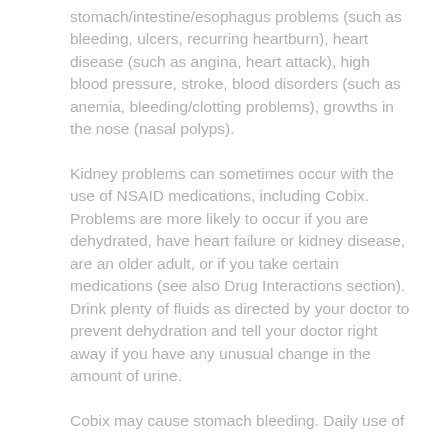stomach/intestine/esophagus problems (such as bleeding, ulcers, recurring heartburn), heart disease (such as angina, heart attack), high blood pressure, stroke, blood disorders (such as anemia, bleeding/clotting problems), growths in the nose (nasal polyps).
Kidney problems can sometimes occur with the use of NSAID medications, including Cobix. Problems are more likely to occur if you are dehydrated, have heart failure or kidney disease, are an older adult, or if you take certain medications (see also Drug Interactions section). Drink plenty of fluids as directed by your doctor to prevent dehydration and tell your doctor right away if you have any unusual change in the amount of urine.
Cobix may cause stomach bleeding. Daily use of